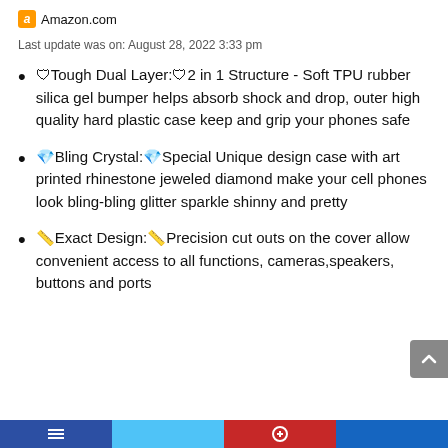Amazon.com
Last update was on: August 28, 2022 3:33 pm
🛡Tough Dual Layer:🛡2 in 1 Structure - Soft TPU rubber silica gel bumper helps absorb shock and drop, outer high quality hard plastic case keep and grip your phones safe
💎Bling Crystal:💎Special Unique design case with art printed rhinestone jeweled diamond make your cell phones look bling-bling glitter sparkle shinny and pretty
📐Exact Design:📐Precision cut outs on the cover allow convenient access to all functions, cameras,speakers, buttons and ports